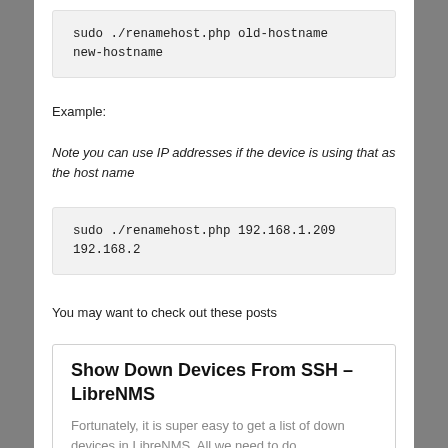sudo ./renamehost.php old-hostname
new-hostname
Example:
Note you can use IP addresses if the device is using that as the host name
sudo ./renamehost.php 192.168.1.209
192.168.2
You may want to check out these posts
Show Down Devices From SSH – LibreNMS
Fortunately, it is super easy to get a list of down devices in LibreNMS. All we need to do